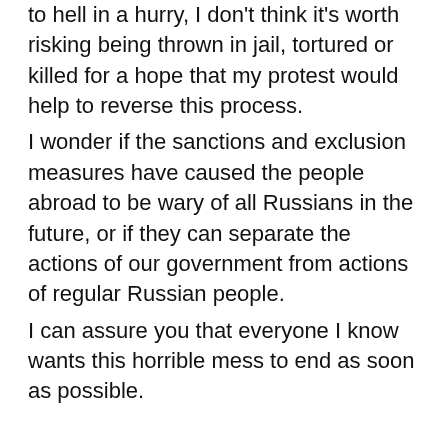to hell in a hurry, I don't think it's worth risking being thrown in jail, tortured or killed for a hope that my protest would help to reverse this process.
I wonder if the sanctions and exclusion measures have caused the people abroad to be wary of all Russians in the future, or if they can separate the actions of our government from actions of regular Russian people.
I can assure you that everyone I know wants this horrible mess to end as soon as possible.
From Russia with love.
Artem